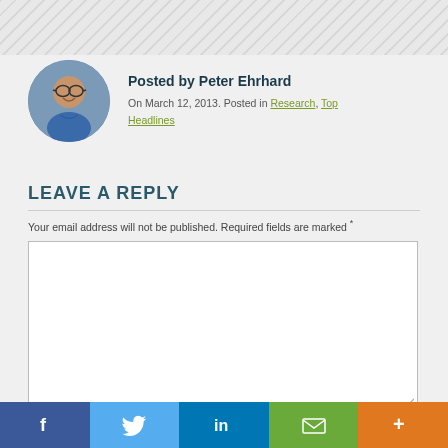[Figure (other): Diagonal stripe header background]
[Figure (photo): Circular avatar photo of Peter Ehrhard, a man with glasses and short dark hair wearing a blue shirt]
Posted by Peter Ehrhard
On March 12, 2013. Posted in Research, Top Headlines
LEAVE A REPLY
Your email address will not be published. Required fields are marked *
[Figure (other): Empty comment text area input box]
f  (Twitter bird icon)  in  (envelope icon)  +